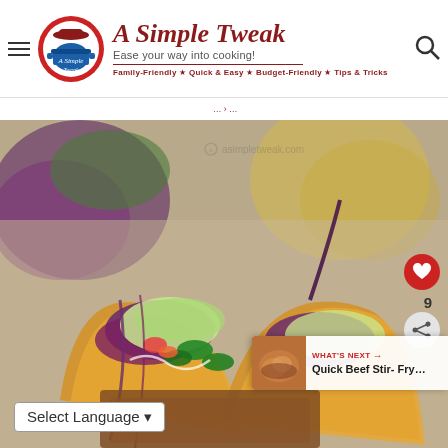A Simple Tweak — Ease your way into cooking! Family-Friendly • Quick & Easy • Budget-Friendly • Tips & Tricks
[Figure (photo): Close-up photo of two tacos filled with shredded purple cabbage, jalapeño slices, shredded lettuce, and meat, with background blurred and watermark asimpletweak.com]
WHAT'S NEXT → Quick Beef Stir- Fry...
Select Language ▾